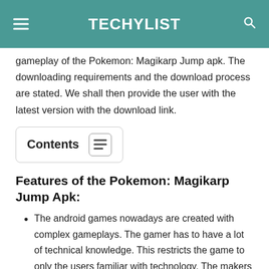TECHYLIST
gameplay of the Pokemon: Magikarp Jump apk. The downloading requirements and the download process are stated. We shall then provide the user with the latest version with the download link.
Contents
Features of the Pokemon: Magikarp Jump Apk:
The android games nowadays are created with complex gameplays. The gamer has to have a lot of technical knowledge. This restricts the game to only the users familiar with technology. The makers made it a point to create a simple